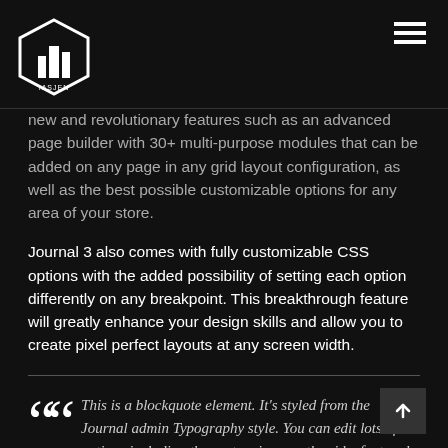IASJEN logo and hamburger menu
new and revolutionary features such as an advanced page builder with 30+ multi-purpose modules that can be added on any page in any grid layout configuration, as well as the best possible customizable options for any area of your store.
Journal 3 also comes with fully customizable CSS options with the added possibility of setting each option differently on any breakpoint. This breakthrough feature will greatly enhance your design skills and allow you to create pixel perfect layouts at any screen width.
This is a blockquote element. It's styled from the Journal admin Typography style. You can edit lots of options including the custom icon on the side, font and other text styles, padding, background, etc.
The new advanced Status mechanism allow you to set up modules and menus based on device, customer login status or